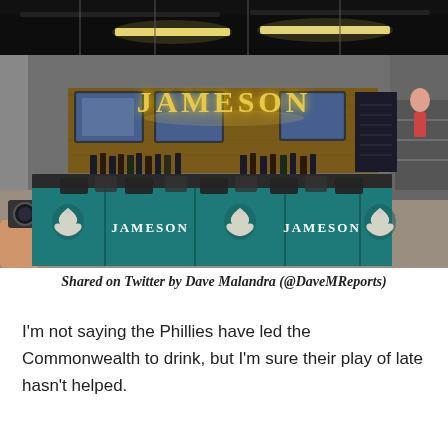[Figure (photo): Interior photo of a stadium bar area branded with Jameson whiskey and Philadelphia Eagles logos. The teal bar counter features alternating Eagle logos and JAMESON text panels. A large glowing JAMESON sign hangs above the wooden back wall. TV screens and bottles are visible behind the bar. The setting appears to be inside Lincoln Financial Field.]
Shared on Twitter by Dave Malandra (@DaveMReports)
I'm not saying the Phillies have led the Commonwealth to drink, but I'm sure their play of late hasn't helped.